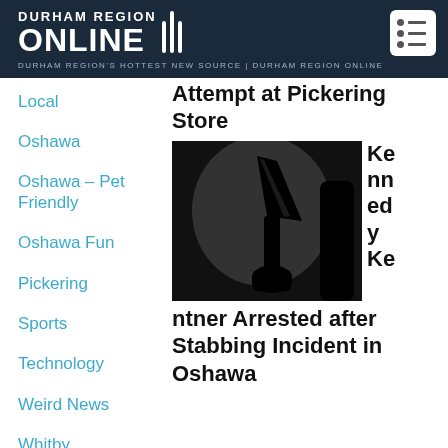DURHAM REGION ONLINE | DURHAM REGION'S HOTTEST NEW SOURCE | DURHAM REGION ONLINE
Local
Oshawa
Oshawa – Pet Friendly
Oshawa Fun
Pickering
Sports
Technology
Weird News
Whitby
Attempt at Pickering Store
[Figure (photo): Silhouette of a person holding a knife against a light background]
Kennedy Kentner Arrested after Stabbing Incident in Oshawa